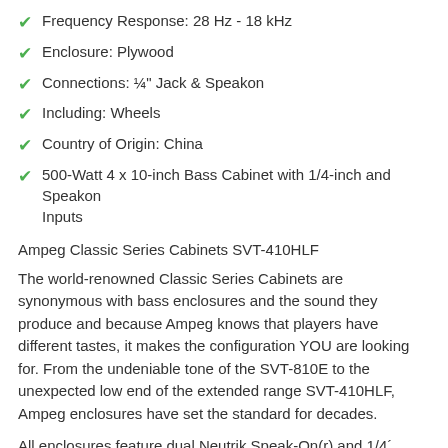Frequency Response: 28 Hz - 18 kHz
Enclosure: Plywood
Connections: ¼" Jack & Speakon
Including: Wheels
Country of Origin: China
500-Watt 4 x 10-inch Bass Cabinet with 1/4-inch and Speakon Inputs
Ampeg Classic Series Cabinets SVT-410HLF
The world-renowned Classic Series Cabinets are synonymous with bass enclosures and the sound they produce and because Ampeg knows that players have different tastes, it makes the configuration YOU are looking for. From the undeniable tone of the SVT-810E to the unexpected low end of the extended range SVT-410HLF, Ampeg enclosures have set the standard for decades.
All enclosures feature dual Neutrik Speak-On(r) and 1/4´ input/output jacks. Cabinets using high frequency horns contain a variable level attenuator. To prevent overpowering and damaging the horns, a resistive bulb is wired in series with the horns for protection.